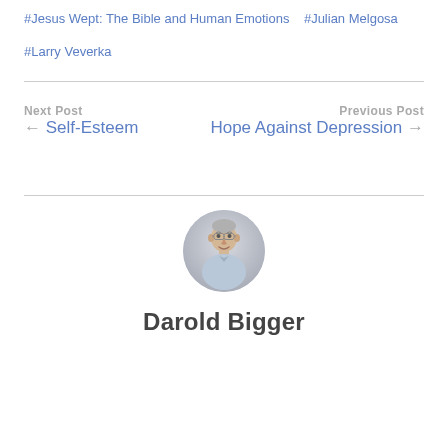#Jesus Wept: The Bible and Human Emotions  #Julian Melgosa
#Larry Veverka
Next Post
← Self-Esteem
Previous Post
Hope Against Depression →
[Figure (photo): Circular portrait photo of Darold Bigger, a middle-aged man wearing a light blue shirt, smiling slightly, with a neutral gray background.]
Darold Bigger